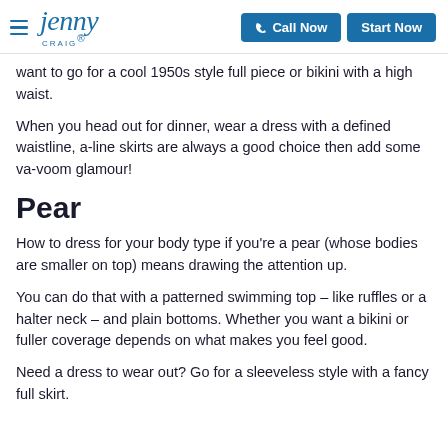Jenny Craig — Call Now | Start Now
want to go for a cool 1950s style full piece or bikini with a high waist.
When you head out for dinner, wear a dress with a defined waistline, a-line skirts are always a good choice then add some va-voom glamour!
Pear
How to dress for your body type if you're a pear (whose bodies are smaller on top) means drawing the attention up.
You can do that with a patterned swimming top – like ruffles or a halter neck – and plain bottoms. Whether you want a bikini or fuller coverage depends on what makes you feel good.
Need a dress to wear out? Go for a sleeveless style with a fancy full skirt.